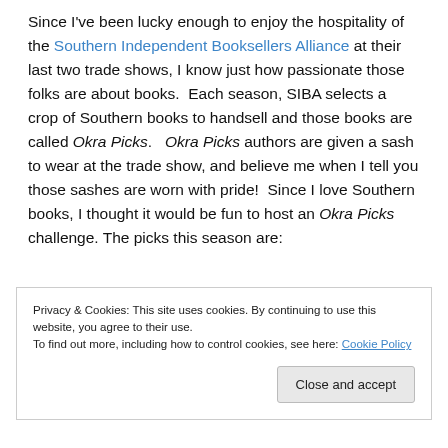Since I've been lucky enough to enjoy the hospitality of the Southern Independent Booksellers Alliance at their last two trade shows, I know just how passionate those folks are about books.  Each season, SIBA selects a crop of Southern books to handsell and those books are called Okra Picks.  Okra Picks authors are given a sash to wear at the trade show, and believe me when I tell you those sashes are worn with pride!  Since I love Southern books, I thought it would be fun to host an Okra Picks challenge.  The picks this season are:
Privacy & Cookies: This site uses cookies. By continuing to use this website, you agree to their use. To find out more, including how to control cookies, see here: Cookie Policy